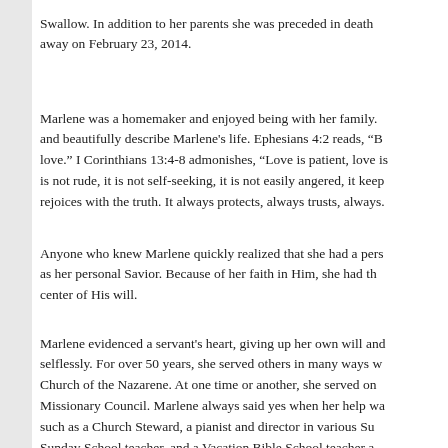Swallow. In addition to her parents she was preceded in death away on February 23, 2014.
Marlene was a homemaker and enjoyed being with her family. and beautifully describe Marlene's life. Ephesians 4:2 reads, "B love." I Corinthians 13:4-8 admonishes, "Love is patient, love is is not rude, it is not self-seeking, it is not easily angered, it keep rejoices with the truth. It always protects, always trusts, always.
Anyone who knew Marlene quickly realized that she had a pers as her personal Savior. Because of her faith in Him, she had th center of His will.
Marlene evidenced a servant's heart, giving up her own will and selflessly. For over 50 years, she served others in many ways w Church of the Nazarene. At one time or another, she served on Missionary Council. Marlene always said yes when her help wa such as a Church Steward, a pianist and director in various Su Sunday School teacher, and a Vacation Bible School teacher a students in some of Greenville's elementary school classrooms
Marlene daily demonstrated a heart filled with love of life and fo